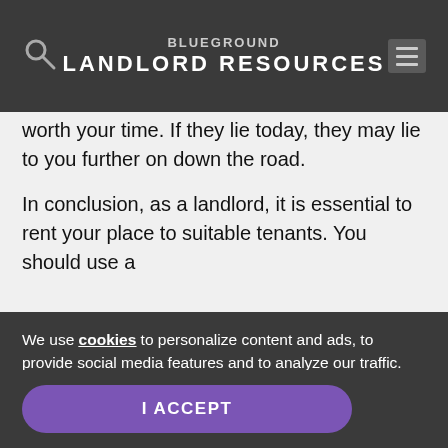BLUEGROUND LANDLORD RESOURCES
... worth your time. If they lie today, they may lie to you further on down the road.
In conclusion, as a landlord, it is essential to rent your place to suitable tenants. You should use a ...
We use cookies to personalize content and ads, to provide social media features and to analyze our traffic. We also share information about your use of our site with our social media, advertising and analytics partners.
I ACCEPT